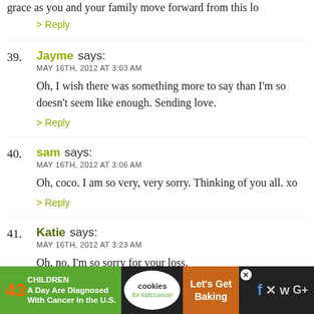grace as you and your family move forward from this lo
> Reply
39. Jayme says: MAY 16TH, 2012 AT 3:03 AM — Oh, I wish there was something more to say than I'm so doesn't seem like enough. Sending love.
> Reply
40. sam says: MAY 16TH, 2012 AT 3:06 AM — Oh, coco. I am so very, very sorry. Thinking of you all. xo
> Reply
41. Katie says: MAY 16TH, 2012 AT 3:23 AM — Oh, no. I'm so sorry for your loss.
> Reply
[Figure (infographic): Advertisement banner: '43 CHILDREN A Day Are Diagnosed With Cancer in the U.S.' with cookies for kids cancer and Let's Get Baking text, social media icons on dark background]